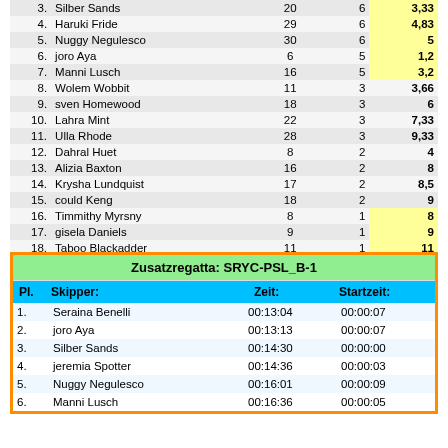| Pl. | Skipper: |  |  | Score |
| --- | --- | --- | --- | --- |
| 3. | Silber Sands | 20 | 6 | 3,33 |
| 4. | Haruki Fride | 29 | 6 | 4,83 |
| 5. | Nuggy Negulesco | 30 | 6 | 5 |
| 6. | joro Aya | 6 | 5 | 1,2 |
| 7. | Manni Lusch | 16 | 5 | 3,2 |
| 8. | Wolem Wobbit | 11 | 3 | 3,66 |
| 9. | sven Homewood | 18 | 3 | 6 |
| 10. | Lahra Mint | 22 | 3 | 7,33 |
| 11. | Ulla Rhode | 28 | 3 | 9,33 |
| 12. | Dahral Huet | 8 | 2 | 4 |
| 13. | Alizia Baxton | 16 | 2 | 8 |
| 14. | Krysha Lundquist | 17 | 2 | 8,5 |
| 15. | could Keng | 18 | 2 | 9 |
| 16. | Timmithy Myrsny | 8 | 1 | 8 |
| 17. | gisela Daniels | 9 | 1 | 9 |
| 18. | Taboo Blackadder | 11 | 1 | 11 |
|  | Yuki01 Xaris | 11 | 1 | 11 |
| Pl. | Skipper: | Zeit: | Startzeit: |
| --- | --- | --- | --- |
| 1. | Seraina Benelli | 00:13:04 | 00:00:07 |
| 2. | joro Aya | 00:13:13 | 00:00:07 |
| 3. | Silber Sands | 00:14:30 | 00:00:00 |
| 4. | jeremia Spotter | 00:14:36 | 00:00:03 |
| 5. | Nuggy Negulesco | 00:16:01 | 00:00:09 |
| 6. | Manni Lusch | 00:16:36 | 00:00:05 |